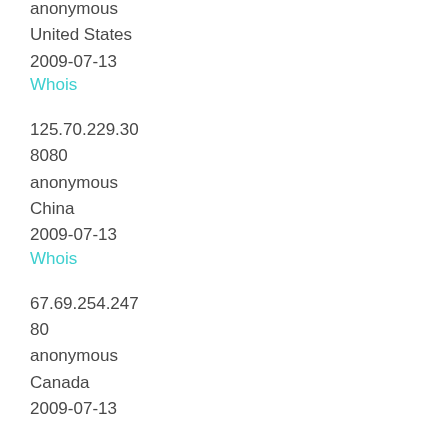anonymous
United States
2009-07-13
Whois
125.70.229.30
8080
anonymous
China
2009-07-13
Whois
67.69.254.247
80
anonymous
Canada
2009-07-13